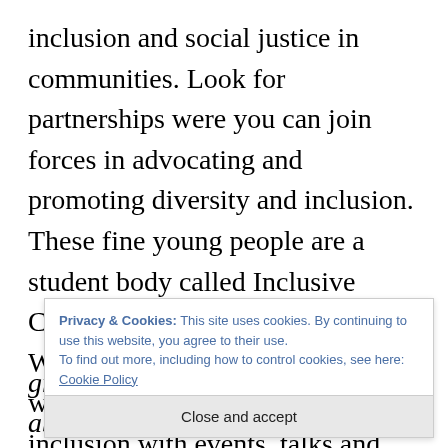inclusion and social justice in communities. Look for partnerships were you can join forces in advocating and promoting diversity and inclusion. These fine young people are a student body called Inclusive Campus at Roskilde University. We have established a partnership were we set focus on diversity and inclusion with events, talks and debates. They mostly arrange, we facilitate, and the events are held in
Privacy & Cookies: This site uses cookies. By continuing to use this website, you agree to their use. To find out more, including how to control cookies, see here: Cookie Policy
Close and accept
great and very important things about doing